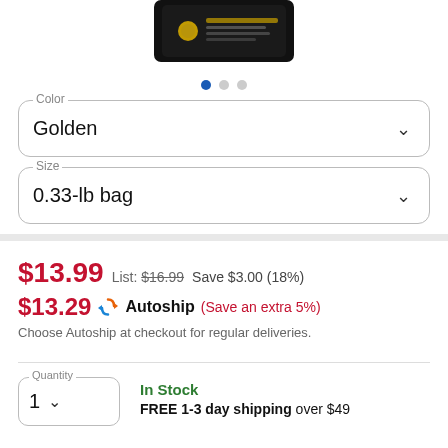[Figure (photo): Product image of a dark/black bag, partially cropped at top]
● ○ ○ (image carousel dots)
Color
Golden
Size
0.33-lb bag
$13.99  List: $16.99  Save $3.00 (18%)
$13.29  Autoship (Save an extra 5%)
Choose Autoship at checkout for regular deliveries.
Quantity
1
In Stock
FREE 1-3 day shipping over $49